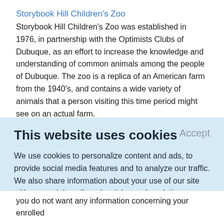Storybook Hill Children's Zoo
Storybook Hill Children's Zoo was established in 1976, in partnership with the Optimists Clubs of Dubuque, as an effort to increase the knowledge and understanding of common animals among the people of Dubuque. The zoo is a replica of an American farm from the 1940's, and contains a wide variety of animals that a person visiting this time period might see on an actual farm.
Wellspring Christian Resources
This website uses cookies
We use cookies to personalize content and ads, to provide social media features and to analyze our traffic. We also share information about your use of our site with our social media, advertising and analytics partners who may combine it with other information that you've provided to them or that they've collected from your use of their services.
Learn More.
you do not want any information concerning your enrolled